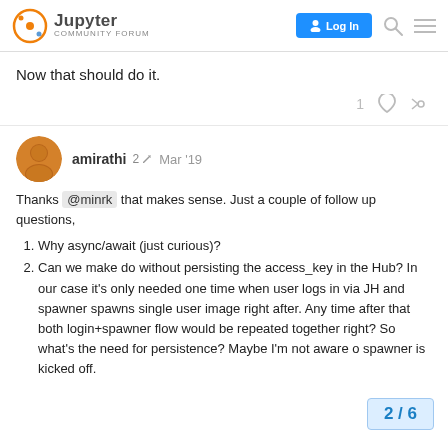Jupyter Community Forum — Log In
Now that should do it.
amirathi  2 ✏  Mar '19
Thanks @minrk that makes sense. Just a couple of follow up questions,
Why async/await (just curious)?
Can we make do without persisting the access_key in the Hub? In our case it's only needed one time when user logs in via JH and spawner spawns single user image right after. Any time after that both login+spawner flow would be repeated together right? So what's the need for persistence? Maybe I'm not aware of when spawner is kicked off.
2 / 6